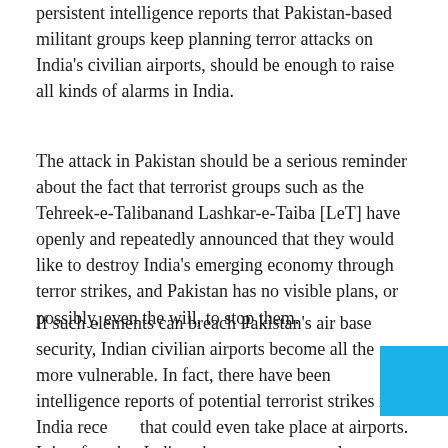persistent intelligence reports that Pakistan-based militant groups keep planning terror attacks on India's civilian airports, should be enough to raise all kinds of alarms in India.
The attack in Pakistan should be a serious reminder about the fact that terrorist groups such as the Tehreek-e-Talibanand Lashkar-e-Taiba [LeT] have openly and repeatedly announced that they would like to destroy India's emerging economy through terror strikes, and Pakistan has no visible plans, or possibly, even the will, to stop them.
If such elements can breach Pakistan's air base security, Indian civilian airports become all the more vulnerable. In fact, there have been intelligence reports of potential terrorist strikes in India recently that could even take place at airports. It is a fact that Indian airports are extremely vulnerable to terrorist attacks. many airports are not properly guarded with the result that it is extremely easy to breach the security.